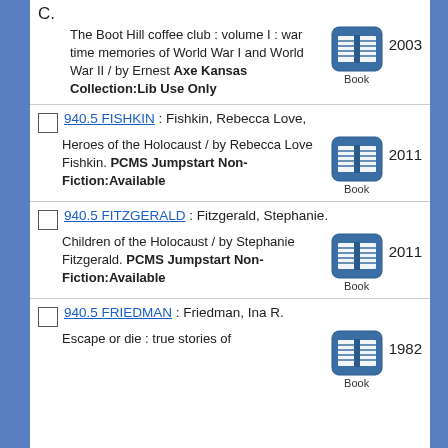C. The Boot Hill coffee club : volume I : war time memories of World War I and World War II / by Ernest Axe Kansas Collection:Lib Use Only 2003
940.5 FISHKIN : Fishkin, Rebecca Love, Heroes of the Holocaust / by Rebecca Love Fishkin. PCMS Jumpstart Non-Fiction:Available 2011
940.5 FITZGERALD : Fitzgerald, Stephanie. Children of the Holocaust / by Stephanie Fitzgerald. PCMS Jumpstart Non-Fiction:Available 2011
940.5 FRIEDMAN : Friedman, Ina R. Escape or die : true stories of 1982